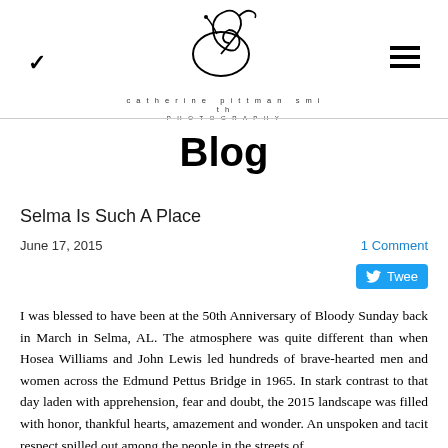catherine pittman smith PHOTOGRAPHY
Blog
Selma Is Such A Place
June 17, 2015    1 Comment
I was blessed to have been at the 50th Anniversary of Bloody Sunday back in March in Selma, AL. The atmosphere was quite different than when Hosea Williams and John Lewis led hundreds of brave-hearted men and women across the Edmund Pettus Bridge in 1965. In stark contrast to that day laden with apprehension, fear and doubt, the 2015 landscape was filled with honor, thankful hearts, amazement and wonder. An unspoken and tacit respect spilled out among the people in the streets of Selma...